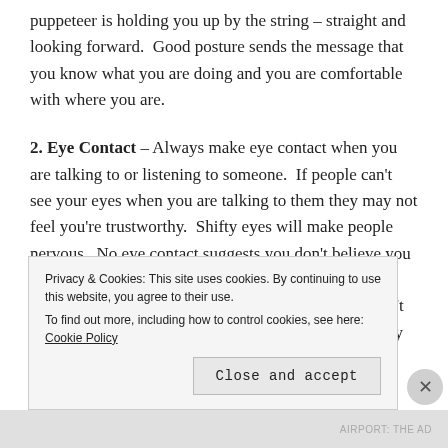puppeteer is holding you up by the string – straight and looking forward.  Good posture sends the message that you know what you are doing and you are comfortable with where you are.
2. Eye Contact – Always make eye contact when you are talking to or listening to someone.  If people can't see your eyes when you are talking to them they may not feel you're trustworthy.  Shifty eyes will make people nervous.  No eye contact suggests you don't believe you are good enough to talk to or worse, you don't believe the other person is good enough to talk to.  If you don't make eye contact when someone else is talking, it may give the impression that you
Privacy & Cookies: This site uses cookies. By continuing to use this website, you agree to their use.
To find out more, including how to control cookies, see here: Cookie Policy
Close and accept
AIRPORT: THE AD